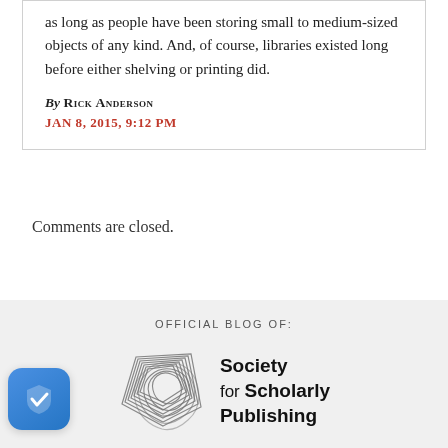as long as people have been storing small to medium-sized objects of any kind. And, of course, libraries existed long before either shelving or printing did.
By RICK ANDERSON
JAN 8, 2015, 9:12 PM
Comments are closed.
[Figure (logo): Society for Scholarly Publishing logo with stacked polygon/diamond shapes icon and OFFICIAL BLOG OF label above]
[Figure (logo): Shield badge icon with checkmark, blue gradient rounded square]